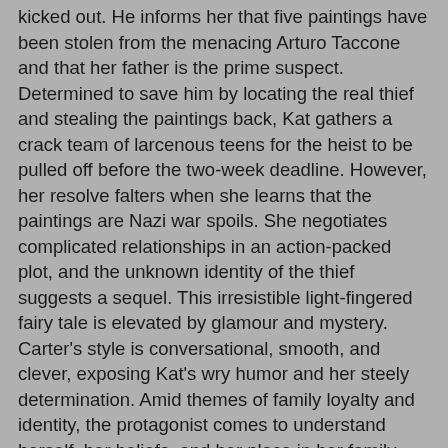kicked out. He informs her that five paintings have been stolen from the menacing Arturo Taccone and that her father is the prime suspect. Determined to save him by locating the real thief and stealing the paintings back, Kat gathers a crack team of larcenous teens for the heist to be pulled off before the two-week deadline. However, her resolve falters when she learns that the paintings are Nazi war spoils. She negotiates complicated relationships in an action-packed plot, and the unknown identity of the thief suggests a sequel. This irresistible light-fingered fairy tale is elevated by glamour and mystery. Carter's style is conversational, smooth, and clever, exposing Kat's wry humor and her steely determination. Amid themes of family loyalty and identity, the protagonist comes to understand herself, her beliefs, and her place in her family. Daring, delicious, but filled with a sense of purpose, Heist Society mixes classic elements of the adolescent bildungsroman into a high-stakes escapade."
MY REVIEW: I enjoyed it and found myself not wanting to put it down. I heard somebody compare it to Ocean's Eleven but I wouldn't go that far. You want to know what happens but it's not high suspense. I quick read but I liked it!